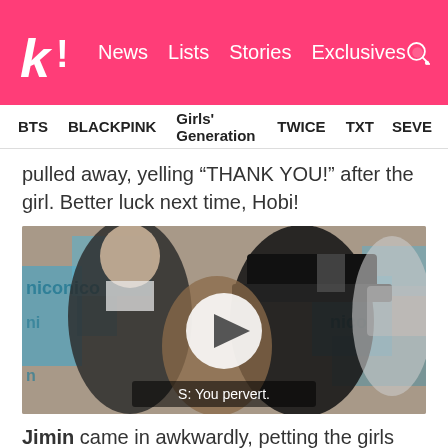k! News  Lists  Stories  Exclusives
BTS  BLACKPINK  Girls' Generation  TWICE  TXT  SEVE
pulled away, yelling “THANK YOU!” after the girl. Better luck next time, Hobi!
[Figure (photo): Video still showing BTS members at a fan event with 'niconico' backdrop. One member in a black hat and black outfit appears to be leaning toward a fan. A play button overlay is visible in the center. Subtitle reads: S: You pervert.]
Jimin came in awkwardly, petting the girls head